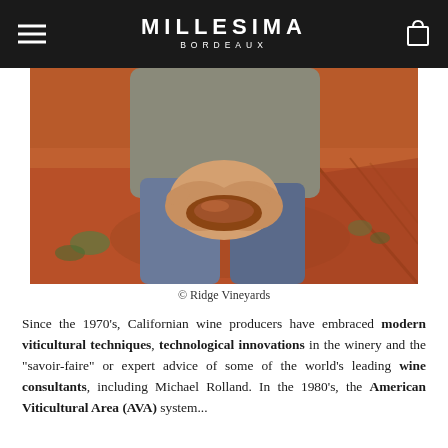MILLESIMA BORDEAUX
[Figure (photo): A person holding red/brown soil/earth in their cupped hands, standing in a vineyard with red clay ground and vine rows visible in the background. Photo credit: Ridge Vineyards.]
© Ridge Vineyards
Since the 1970's, Californian wine producers have embraced modern viticultural techniques, technological innovations in the winery and the "savoir-faire" or expert advice of some of the world's leading wine consultants, including Michael Rolland. In the 1980's, the American Viticultural Area (AVA) system...